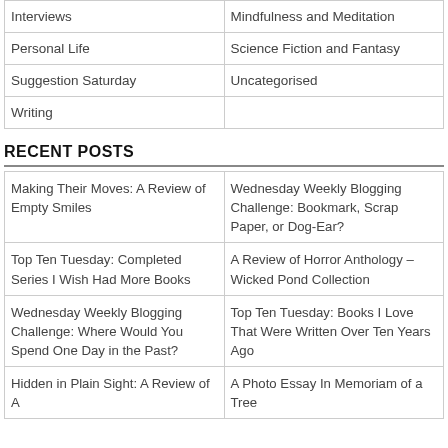| Interviews | Mindfulness and Meditation |
| Personal Life | Science Fiction and Fantasy |
| Suggestion Saturday | Uncategorised |
| Writing |  |
RECENT POSTS
| Making Their Moves: A Review of Empty Smiles | Wednesday Weekly Blogging Challenge: Bookmark, Scrap Paper, or Dog-Ear? |
| Top Ten Tuesday: Completed Series I Wish Had More Books | A Review of Horror Anthology – Wicked Pond Collection |
| Wednesday Weekly Blogging Challenge: Where Would You Spend One Day in the Past? | Top Ten Tuesday: Books I Love That Were Written Over Ten Years Ago |
| Hidden in Plain Sight: A Review of A | A Photo Essay In Memoriam of a Tree |